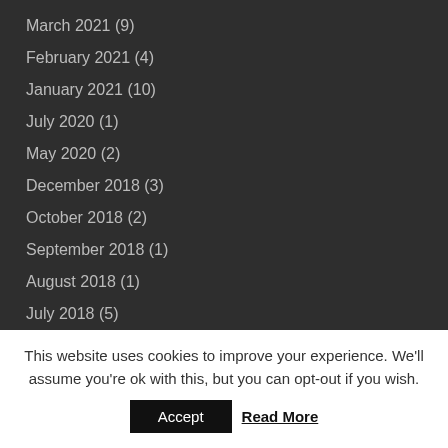March 2021 (9)
February 2021 (4)
January 2021 (10)
July 2020 (1)
May 2020 (2)
December 2018 (3)
October 2018 (2)
September 2018 (1)
August 2018 (1)
July 2018 (5)
June 2018 (15)
May 2018 (17)
April 2018 (8)
This website uses cookies to improve your experience. We'll assume you're ok with this, but you can opt-out if you wish.
Accept
Read More